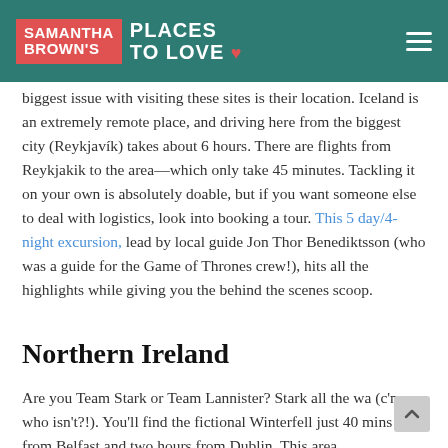Samantha Brown's Places to Love
biggest issue with visiting these sites is their location. Iceland is an extremely remote place, and driving here from the biggest city (Reykjavík) takes about 6 hours. There are flights from Reykjakik to the area—which only take 45 minutes. Tackling it on your own is absolutely doable, but if you want someone else to deal with logistics, look into booking a tour. This 5 day/4-night excursion, lead by local guide Jon Thor Benediktsson (who was a guide for the Game of Thrones crew!), hits all the highlights while giving you the behind the scenes scoop.
Northern Ireland
Are you Team Stark or Team Lannister? Stark all the wa (c'mon, who isn't?!). You'll find the fictional Winterfell just 40 mins from Belfast and two hours from Dublin. This area